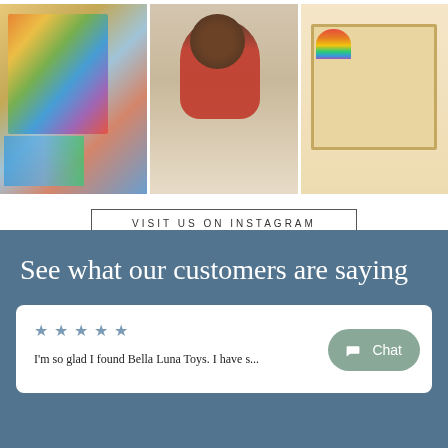[Figure (photo): Three Instagram photos in a grid: colorful wooden blocks and art, a child in red sitting, and a wooden shelf with rainbow toys]
VISIT US ON INSTAGRAM
See what our customers are saying
★ ★ ★ ★ ★
I'm so glad I found Bella Luna Toys. I have s...